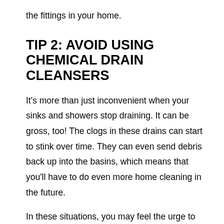the fittings in your home.
TIP 2: AVOID USING CHEMICAL DRAIN CLEANSERS
It's more than just inconvenient when your sinks and showers stop draining. It can be gross, too! The clogs in these drains can start to stink over time. They can even send debris back up into the basins, which means that you'll have to do even more home cleaning in the future.
In these situations, you may feel the urge to reach for the first heavy-duty cleanser available. While the cleansers that burn through hair and food waste are convenient, they also present some dangers to your pipes. These